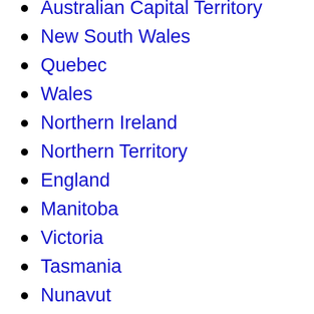Australian Capital Territory
New South Wales
Quebec
Wales
Northern Ireland
Northern Territory
England
Manitoba
Victoria
Tasmania
Nunavut
Scotland